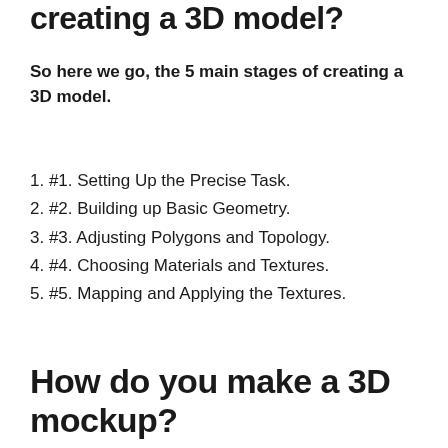creating a 3D model?
So here we go, the 5 main stages of creating a 3D model.
1. #1. Setting Up the Precise Task.
2. #2. Building up Basic Geometry.
3. #3. Adjusting Polygons and Topology.
4. #4. Choosing Materials and Textures.
5. #5. Mapping and Applying the Textures.
How do you make a 3D mockup?